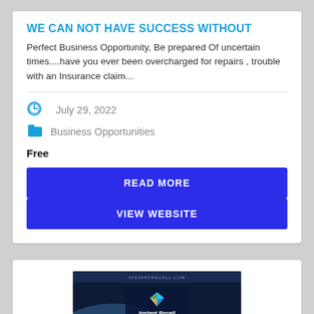WE CAN NOT HAVE SUCCESS WITHOUT
Perfect Business Opportunity, Be prepared Of uncertain times....have you ever been overcharged for repairs , trouble with an Insurance claim...
July 29, 2022
Business Opportunities
Free
READ MORE
VIEW WEBSITE
[Figure (screenshot): Screenshot of Instant Recall website with earth image background, logo and brand text, dark overlay box, and golden text at bottom.]